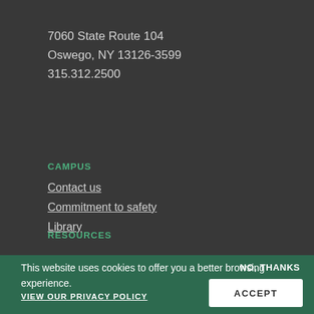7060 State Route 104
Oswego, NY 13126-3599
315.312.2500
CAMPUS
Contact us
Commitment to safety
Library
RESOURCES
This website uses cookies to offer you a better browsing experience.
NO, THANKS
VIEW OUR PRIVACY POLICY
ACCEPT